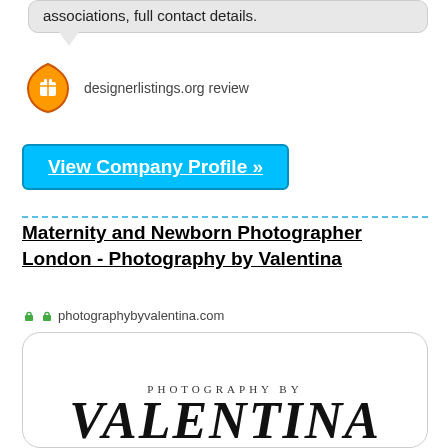associations, full contact details.
[Figure (logo): Orange shield-shaped icon with hand/gift graphic; designerlistings.org review label]
designerlistings.org review
View Company Profile »
Maternity and Newborn Photographer London - Photography by Valentina
photographybyvalentina.com
[Figure (logo): Photography by Valentina logo — large serif italic VALENTINA text with PHOTOGRAPHY BY above in spaced caps]